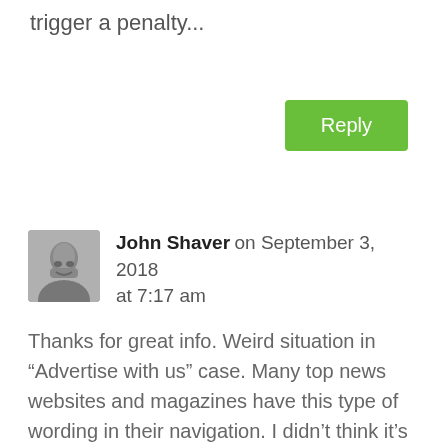trigger a penalty...
Reply
John Shaver on September 3, 2018 at 7:17 am
Thanks for great info. Weird situation in “Advertise with us” case. Many top news websites and magazines have this type of wording in their navigation. I didn’t think it’s a bad idea to avoid that authority websites just because of Advertise page. Now I’m confused.